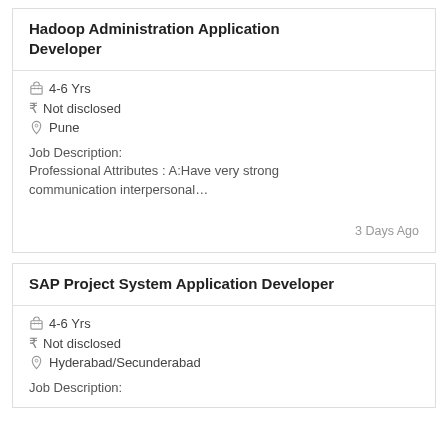Hadoop Administration Application Developer
4-6 Yrs
Not disclosed
Pune
Job Description:
Professional Attributes : A:Have very strong communication interpersonal…
3 Days Ago
SAP Project System Application Developer
4-6 Yrs
Not disclosed
Hyderabad/Secunderabad
Job Description: